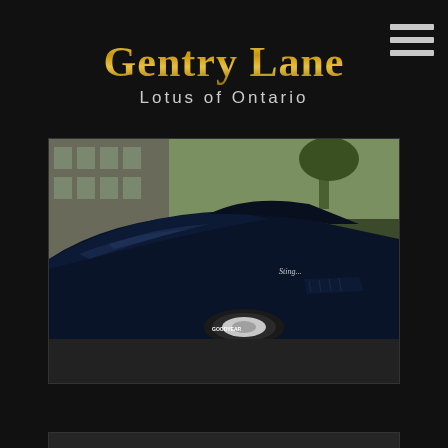Gentry Lane – Lotus of Ontario
[Figure (photo): Close-up photo of a classic blue Corvette Stingray, showing the front quarter panel, hood, and front wheel with white-lettered tires. The car is deep navy/midnight blue with chrome bumper details. A building is visible in the background.]
[Figure (photo): Partially visible bottom card/image placeholder in dark gray]